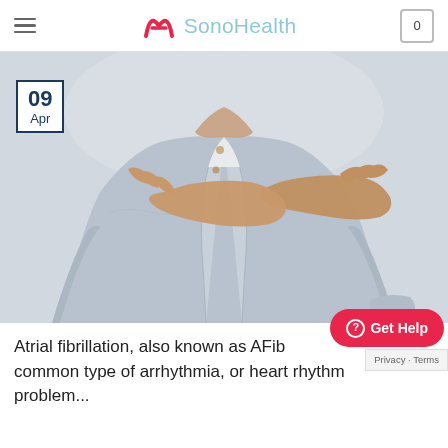SonoHealth
[Figure (photo): Person in a gray cardigan holding their chest/heart area with both hands crossed, suggesting heart discomfort. A date badge shows 09 Apr in the top-left corner of the image.]
Atrial fibrillation, also known as AFib is the most common type of arrhythmia, or heart rhythm problem...